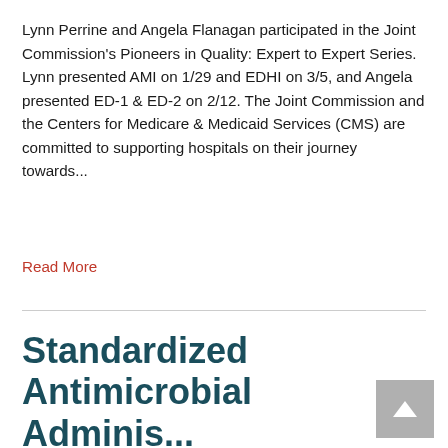Lynn Perrine and Angela Flanagan participated in the Joint Commission's Pioneers in Quality: Expert to Expert Series. Lynn presented AMI on 1/29 and EDHI on 3/5, and Angela presented ED-1 & ED-2 on 2/12. The Joint Commission and the Centers for Medicare & Medicaid Services (CMS) are committed to supporting hospitals on their journey towards...
Read More
Standardized Antimicrobial Administratio...